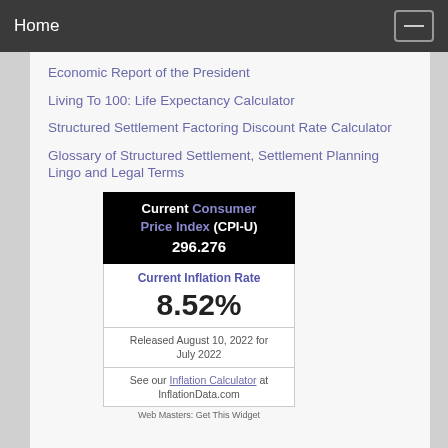Home
Economic Report of the President
Living To 100: Life Expectancy Calculator
Structured Settlement Factoring Discount Rate Calculator
Glossary of Structured Settlement, Settlement Planning Lingo and Legal Terms
Current Consumer Price Index (CPI-U) 296.276
Current Inflation Rate
8.52%
Released August 10, 2022 for July 2022
See our Inflation Calculator at InflationData.com
Web Masters: Get This Widget